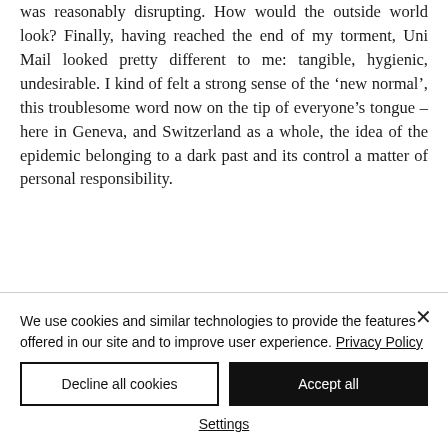was reasonably disrupting. How would the outside world look? Finally, having reached the end of my torment, Uni Mail looked pretty different to me: tangible, hygienic, undesirable. I kind of felt a strong sense of the ‘new normal’, this troublesome word now on the tip of everyone’s tongue – here in Geneva, and Switzerland as a whole, the idea of the epidemic belonging to a dark past and its control a matter of personal responsibility.
We use cookies and similar technologies to provide the features offered in our site and to improve user experience. Privacy Policy
Decline all cookies
Accept all
Settings